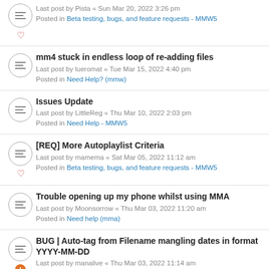Last post by Pista « Sun Mar 20, 2022 3:26 pm
Posted in Beta testing, bugs, and feature requests - MMW5
mm4 stuck in endless loop of re-adding files
Last post by lueromat « Tue Mar 15, 2022 4:40 pm
Posted in Need Help? (mmw)
Issues Update
Last post by LittleReg « Thu Mar 10, 2022 2:03 pm
Posted in Need Help - MMW5
[REQ] More Autoplaylist Criteria
Last post by mamema « Sat Mar 05, 2022 11:12 am
Posted in Beta testing, bugs, and feature requests - MMW5
Trouble opening up my phone whilst using MMA
Last post by Moonsorrow « Thu Mar 03, 2022 11:20 am
Posted in Need help (mma)
BUG | Auto-tag from Filename mangling dates in format YYYY-MM-DD
Last post by manalive « Thu Mar 03, 2022 11:14 am
Posted in Beta testing, bugs, and feature requests - MMW5